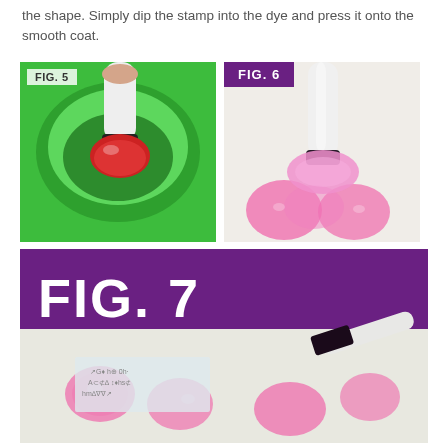the shape. Simply dip the stamp into the dye and press it onto the smooth coat.
[Figure (photo): FIG. 5: A stamp being dipped into red dye in a green plastic bowl]
[Figure (photo): FIG. 6: A stamp pressed onto a surface leaving pink floral impressions]
[Figure (photo): FIG. 7: Multiple pink stamp impressions on paper with a stamp tool nearby]